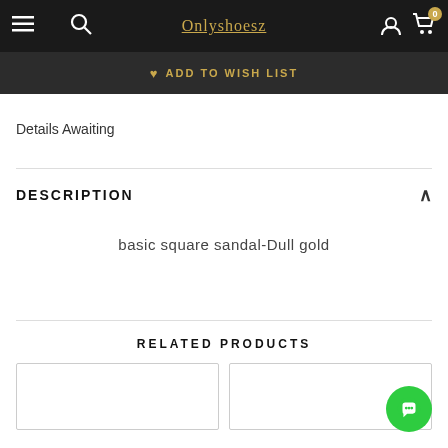Onlyshoesz
ADD TO WISH LIST
Details Awaiting
DESCRIPTION
basic square sandal-Dull gold
RELATED PRODUCTS